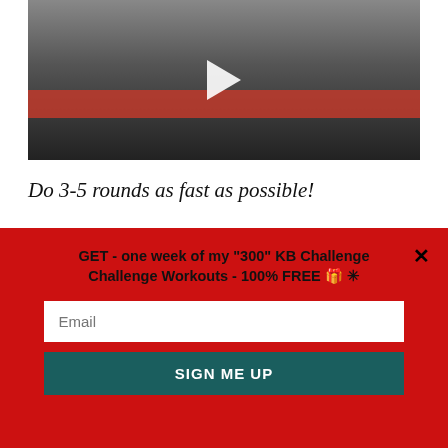[Figure (screenshot): Video thumbnail showing a man in a gym with kettlebells and exercise equipment, with a play button overlay on a dark background]
Do 3-5 rounds as fast as possible!
.
GET - one week of my "300" KB Challenge Challenge Workouts - 100% FREE 🎁 ✳
Email
SIGN ME UP